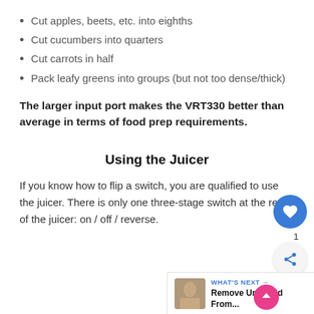Cut apples, beets, etc. into eighths
Cut cucumbers into quarters
Cut carrots in half
Pack leafy greens into groups (but not too dense/thick)
The larger input port makes the VRT330 better than average in terms of food prep requirements.
Using the Juicer
If you know how to flip a switch, you are qualified to use the juicer. There is only one three-stage switch at the rear of the juicer: on / off / reverse.